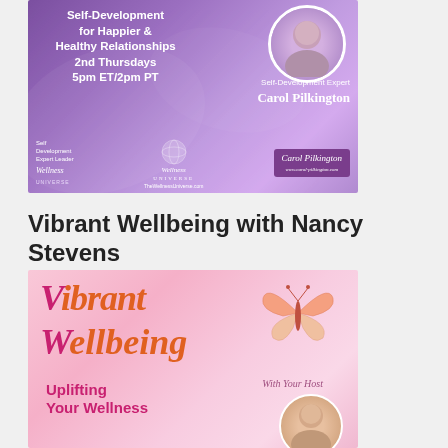[Figure (illustration): Promotional banner for Self-Development for Happier & Healthy Relationships show, 2nd Thursdays 5pm ET/2pm PT, featuring Self-Development Expert Carol Pilkington, with Wellness Universe branding and purple gradient background.]
Vibrant Wellbeing with Nancy Stevens
[Figure (illustration): Promotional banner for Vibrant Wellbeing show with pink/rose gradient background, large stylized text 'Vibrant Wellbeing' in magenta italic, butterfly graphic, 'Uplifting Your Wellness' subtext, 'With Your Host' label, and host photo circle.]